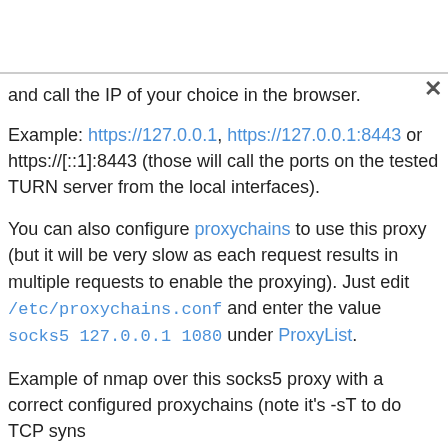and call the IP of your choice in the browser.
Example: https://127.0.0.1, https://127.0.0.1:8443 or https://[::1]:8443 (those will call the ports on the tested TURN server from the local interfaces).
You can also configure proxychains to use this proxy (but it will be very slow as each request results in multiple requests to enable the proxying). Just edit /etc/proxychains.conf and enter the value socks5 127.0.0.1 1080 under ProxyList.
Example of nmap over this socks5 proxy with a correct configured proxychains (note it's -sT to do TCP syns